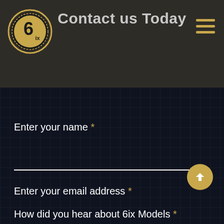Contact us Today
[Figure (logo): 6ix Models circular golden logo with the number 6 and letters ix on a dark background with gold ring border]
Enter your name *
Enter your email address *
How did you hear about 6ix Models *